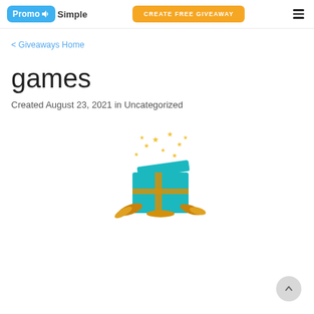PromoSimple | CREATE FREE GIVEAWAY
< Giveaways Home
games
Created August 23, 2021 in Uncategorized
[Figure (illustration): An open teal gift box with gold stars bursting out and gold ribbon scattered around the base]